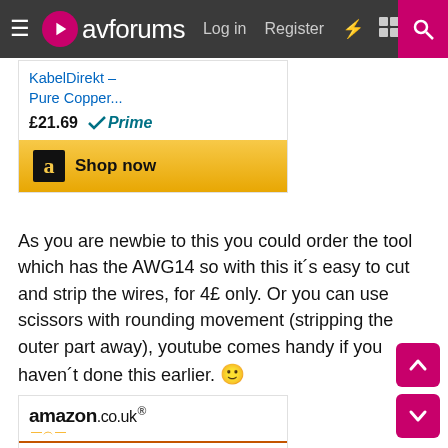avforums — Log in  Register
[Figure (screenshot): Amazon product card showing KabelDirekt Pure Copper... £21.69 Prime with Shop now button]
As you are newbie to this you could order the tool which has the AWG14 so with this it´s easy to cut and strip the wires, for 4£ only. Or you can use scissors with rounding movement (stripping the outer part away), youtube comes handy if you haven´t done this earlier. 🙂
[Figure (screenshot): Amazon.co.uk product card showing a Crimping Tool Wire Stripper with image of the tool]